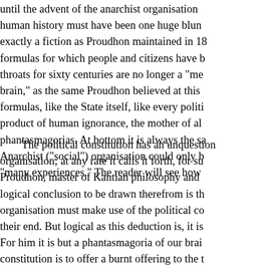until the advent of the anarchist organisation human history must have been one huge blunder, exactly a fiction as Proudhon maintained in 18, formulas for which people and citizens have been throats for sixty centuries are no longer a "me brain," as the same Proudhon believed at this formulas, like the State itself, like every politi product of human ignorance, the mother of all phantasmagorias. At bottom it is always the sa Anarchist ("social") organisation could only be "many experiences." The reader will see how
The political constitution has an unquestion organisation; at any rate it calls it forth, for su Proudhon, master of Kantian philosophy and logical conclusion to be drawn therefrom is th organisation must make use of the political co their end. But logical as this deduction is, it is For him it is but a phantasmagoria of our brai constitution is to offer a burnt offering to the t take part in the struggle of parties. Proudhon more parties," he says; "no more authority, ab the citizen- in three words, such is our politica faith."4